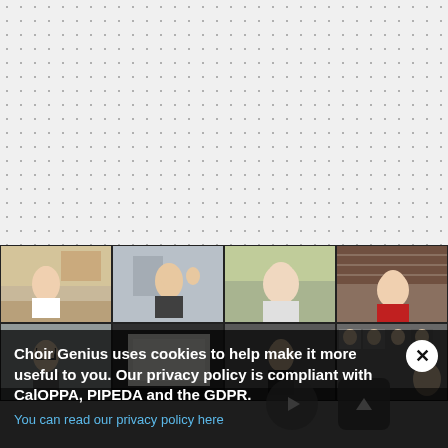[Figure (screenshot): Dotted grid background (light gray with dot pattern) occupying top portion of page]
[Figure (screenshot): Video conference screenshot showing a 4x2 grid of choir participants in their homes. Top row: woman in white top in living room, woman in dark top waving, older woman in white top, older woman in red top. Bottom row: person with glasses, person at desk with projector, man in dark, several small thumbnails, woman.]
Choir Genius uses cookies to help make it more useful to you. Our privacy policy is compliant with CalOPPA, PIPEDA and the GDPR.
You can read our privacy policy here